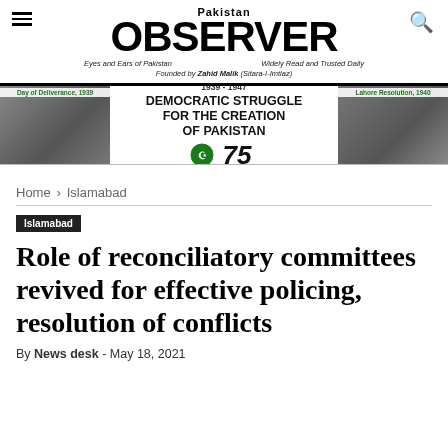Pakistan OBSERVER | Eyes and Ears of Pakistan | Widely Read and Trusted Daily | Founded by Zahid Malik (Sitara-I-Imtiaz)
[Figure (infographic): Banner: Day of Deliverance, 1939 | 1939-1947 DEMOCRATIC STRUGGLE FOR THE CREATION OF PAKISTAN | 75 | Lahore Resolution, 1940]
Home › Islamabad
Islamabad
Role of reconciliatory committees revived for effective policing, resolution of conflicts
By News desk - May 18, 2021